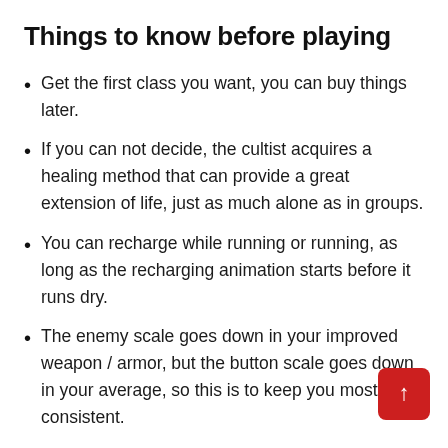Things to know before playing
Get the first class you want, you can buy things later.
If you can not decide, the cultist acquires a healing method that can provide a great extension of life, just as much alone as in groups.
You can recharge while running or running, as long as the recharging animation starts before it runs dry.
The enemy scale goes down in your improved weapon / armor, but the button scale goes down in your average, so this is to keep you mostly consistent.
The debris does not return, so it's worth the effort to expect to find them until an area is cleared and you can safely change the Wanderer set.